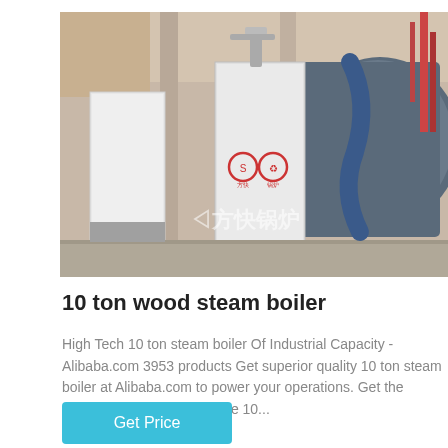[Figure (photo): Industrial steam boilers in a facility, showing large white metal boiler units with red markings and Chinese text watermark '方快锅炉' (Fangkuai Boiler)]
10 ton wood steam boiler
High Tech 10 ton steam boiler Of Industrial Capacity - Alibaba.com 3953 products Get superior quality 10 ton steam boiler at Alibaba.com to power your operations. Get the exclusive range of top-grade 10...
Get Price